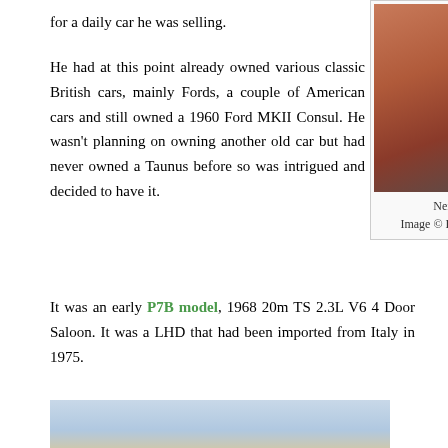for a daily car he was selling.
[Figure (photo): Portrait photo of Neil D., a young man against a red background]
Neil D.
Image © Helaena M.
He had at this point already owned various classic British cars, mainly Fords, a couple of American cars and still owned a 1960 Ford MKII Consul. He wasn't planning on owning another old car but had never owned a Taunus before so was intrigued and decided to have it.
It was an early P7B model, 1968 20m TS 2.3L V6 4 Door Saloon. It was a LHD that had been imported from Italy in 1975.
[Figure (photo): Photograph of a car, golden/orange colored, outdoors]